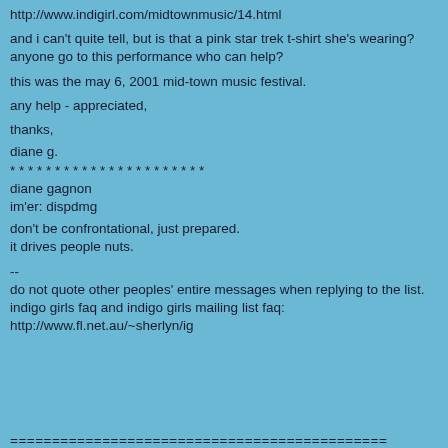http://www.indigirl.com/midtownmusic/14.html
and i can't quite tell, but is that a pink star trek t-shirt she's wearing?
anyone go to this performance who can help?
this was the may 6, 2001 mid-town music festival.
any help - appreciated,
thanks,
diane g.
* * * * * * * * * * * * * * * * * * * * * *
diane gagnon
im'er: dispdmg
don't be confrontational, just prepared.
it drives people nuts.
--
do not quote other peoples' entire messages when replying to the list.
indigo girls faq and indigo girls mailing list faq:
http://www.fl.net.au/~sherlyn/ig
=============================================